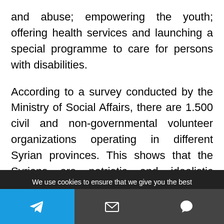and abuse; empowering the youth; offering health services and launching a special programme to care for persons with disabilities.
According to a survey conducted by the Ministry of Social Affairs, there are 1.500 civil and non-governmental volunteer organizations operating in different Syrian provinces. This shows that the Syrians are patriotic and idealistic people, not giving up but fighting for the survival of their nation and state.
We use cookies to ensure that we give you the best experience on our website. If you continue to use this site we will assume that you are happy with it.